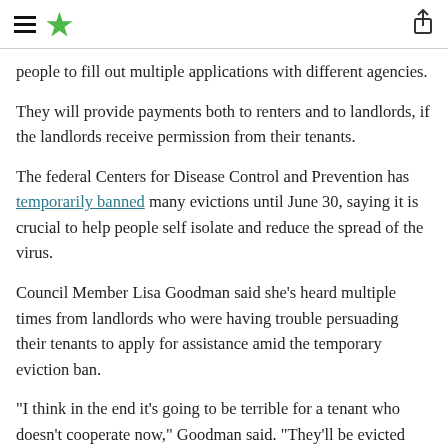≡ ★ [share icon]
people to fill out multiple applications with different agencies.
They will provide payments both to renters and to landlords, if the landlords receive permission from their tenants.
The federal Centers for Disease Control and Prevention has temporarily banned many evictions until June 30, saying it is crucial to help people self isolate and reduce the spread of the virus.
Council Member Lisa Goodman said she's heard multiple times from landlords who were having trouble persuading their tenants to apply for assistance amid the temporary eviction ban.
"I think in the end it's going to be terrible for a tenant who doesn't cooperate now," Goodman said. "They'll be evicted when the moratorium wears off and then they'll have a negative on their record that they didn't need to have. So I think we almost have to